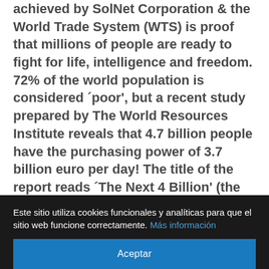achieved by SolNet Corporation & the World Trade System (WTS) is proof that millions of people are ready to fight for life, intelligence and freedom. 72% of the world population is considered ´poor', but a recent study prepared by The World Resources Institute reveals that 4.7 billion people have the purchasing power of 3.7 billion euro per day! The title of the report reads ´The Next 4 Billion' (the next four billion: business strategy and market.
The report is concerning the population of millions of ...
Este sitio utiliza cookies funcionales y analíticas para que el sitio web funcione correctamente. Más información
Aceptar